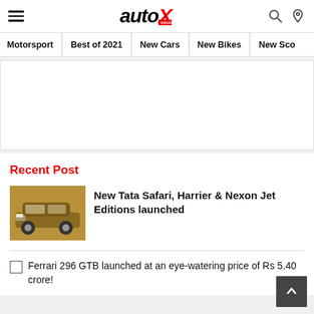autoX navigation header with hamburger menu, autoX logo, search and location icons
Motorsport | Best of 2021 | New Cars | New Bikes | New Sco...
[Figure (other): Advertisement placeholder area, white box]
Recent Post
[Figure (photo): Thumbnail image of a Tata SUV (bronze/gold color)]
New Tata Safari, Harrier & Nexon Jet Editions launched
Ferrari 296 GTB launched at an eye-watering price of Rs 5.40 crore!